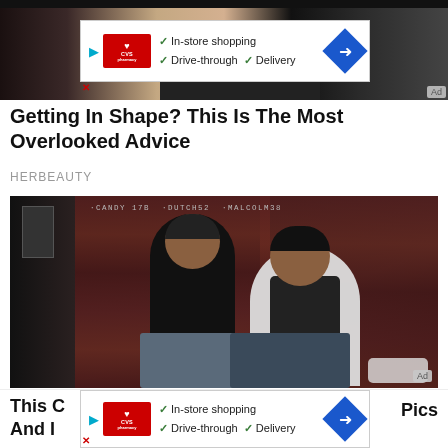[Figure (screenshot): Top portion showing a cropped photo of a person's midsection in dark bikini bottoms, with a CVS Pharmacy advertisement banner overlaid showing 'In-store shopping, Drive-through, Delivery' options with navigation arrow]
Getting In Shape? This Is The Most Overlooked Advice
HERBEAUTY
[Figure (photo): Photo of two men sitting against a brick/wood wall with graffiti reading 'CANDY 17B DUTCH52 MALCOLM38'. Left man in dark sweater, right man in white shirt leaning on left man. Ad badge in corner.]
[Figure (screenshot): Bottom partial view showing beginning of another article 'This C... And I...' with Pics text on right, and another CVS Pharmacy ad banner overlaid]